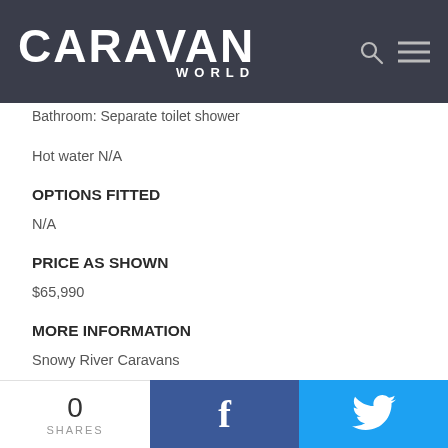CARAVAN WORLD
Bathroom: Separate toilet shower
Hot water N/A
OPTIONS FITTED
N/A
PRICE AS SHOWN
$65,990
MORE INFORMATION
Snowy River Caravans
Warehouse 2/24/32 Stanley Dr, Somerton VIC 3062
0 SHARES